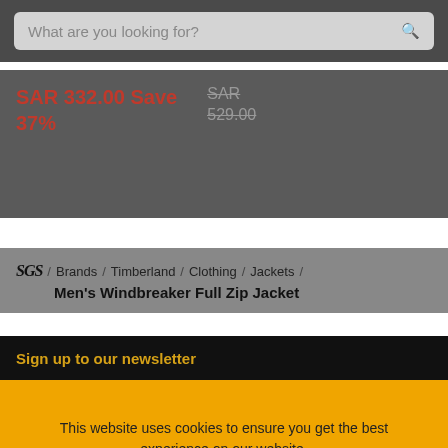What are you looking for?
SAR 332.00 Save 37%
SAR 529.00
SGS / Brands / Timberland / Clothing / Jackets / Men's Windbreaker Full Zip Jacket
Sign up to our newsletter
This website uses cookies to ensure you get the best experience on our website. Read our Cookie Policy to find out more.
I AGREE